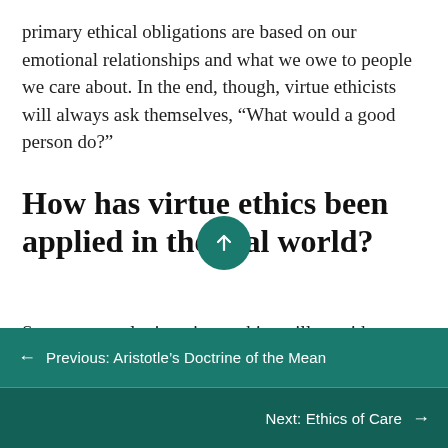primary ethical obligations are based on our emotional relationships and what we owe to people we care about. In the end, though, virtue ethicists will always ask themselves, “What would a good person do?”
How has virtue ethics been applied in the real world?
Someone employing virtue ethics will consider
← Previous: Aristotle’s Doctrine of the Mean
Next: Ethics of Care →